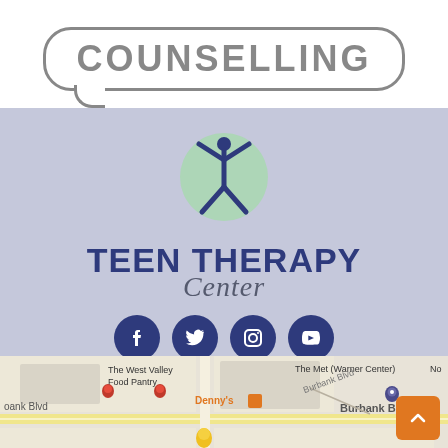COUNSELLING
[Figure (logo): Teen Therapy Center logo: person with arms raised inside a green circle, above bold navy text 'TEEN THERAPY Center']
[Figure (infographic): Social media icons: Facebook, Twitter, Instagram, YouTube — white icons on dark navy circles]
[Figure (map): Google Maps screenshot showing The West Valley Food Pantry, Denny's, The Met (Warner Center), Burbank Blvd area]